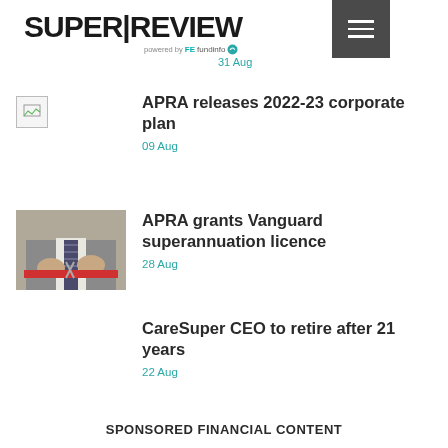SUPER|REVIEW powered by FE fundinfo
31 Aug
APRA releases 2022-23 corporate plan
09 Aug
[Figure (photo): Placeholder image thumbnail for APRA corporate plan article]
APRA grants Vanguard superannuation licence
28 Aug
[Figure (photo): Photo of person in suit cutting a red ribbon with scissors]
CareSuper CEO to retire after 21 years
22 Aug
SPONSORED FINANCIAL CONTENT